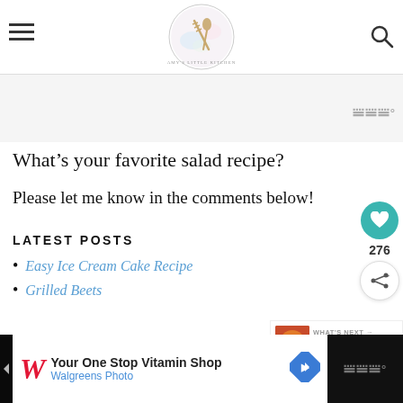[Hamburger menu] [Logo: Amy's Little Kitchen] [Search icon]
What’s your favorite salad recipe?
Please let me know in the comments below!
LATEST POSTS
Easy Ice Cream Cake Recipe
Grilled Beets
[Figure (other): Walgreens advertisement: Your One Stop Vitamin Shop - Walgreens Photo]
WHAT’S NEXT → Franks and Peppers Ste...